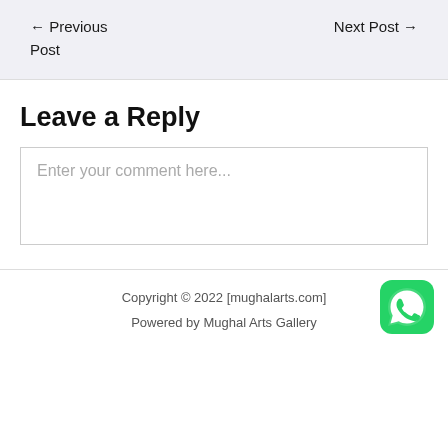← Previous Post
Next Post →
Leave a Reply
Enter your comment here...
Copyright © 2022 [mughalarts.com]
Powered by Mughal Arts Gallery
[Figure (logo): WhatsApp logo icon — green rounded square with white phone handset]